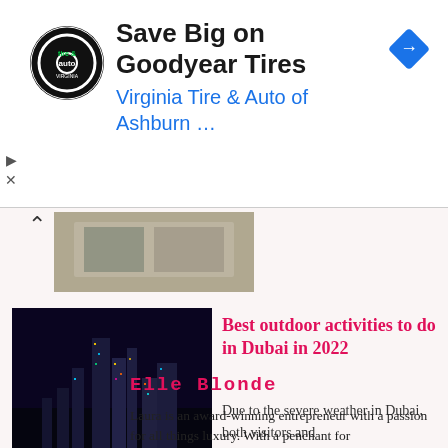[Figure (infographic): Advertisement banner for Virginia Tire & Auto of Ashburn. Contains circular logo with tire and auto text, headline 'Save Big on Goodyear Tires', subtext 'Virginia Tire & Auto of Ashburn ...', and a blue diamond navigation icon on the right.]
[Figure (photo): Partial image of a billboard or outdoor display, partially visible at top of content area.]
[Figure (photo): Aerial night photo of Dubai city skyline with illuminated skyscrapers and marina.]
Best outdoor activities to do in Dubai in 2022
Due to the severe weather in Dubai, both visitors and
Elle Blonde
Laura is an award-winning entrepreneur with a passion for all things luxury. With a penchant for